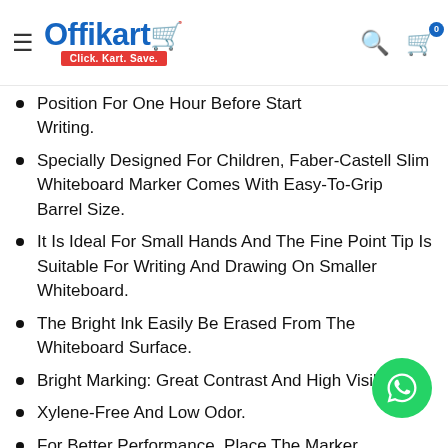Offikart - Click. Kart. Save.
Position For One Hour Before Start Writing.
Specially Designed For Children, Faber-Castell Slim Whiteboard Marker Comes With Easy-To-Grip Barrel Size.
It Is Ideal For Small Hands And The Fine Point Tip Is Suitable For Writing And Drawing On Smaller Whiteboard.
The Bright Ink Easily Be Erased From The Whiteboard Surface.
Bright Marking: Great Contrast And High Visibility.
Xylene-Free And Low Odor.
For Better Performance, Place The Marker